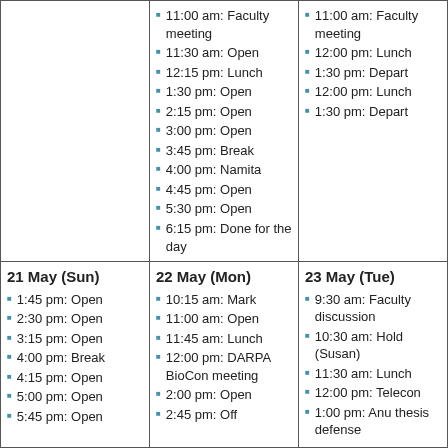|  | Schedule (col2) | Schedule (col3) |
| --- | --- | --- |
|  | 11:00 am: Faculty meeting
11:30 am: Open
12:15 pm: Lunch
1:30 pm: Open
2:15 pm: Open
3:00 pm: Open
3:45 pm: Break
4:00 pm: Namita
4:45 pm: Open
5:30 pm: Open
6:15 pm: Done for the day | 11:00 am: Faculty meeting
12:00 pm: Lunch
1:30 pm: Depart
12:00 pm: Lunch
1:30 pm: Depart |
| 21 May (Sun) | 22 May (Mon) | 23 May (Tue) |
| 1:45 pm: Open
2:30 pm: Open
3:15 pm: Open
4:00 pm: Break
4:15 pm: Open
5:00 pm: Open
5:45 pm: Open | 10:15 am: Mark
11:00 am: Open
11:45 am: Lunch
12:00 pm: DARPA BioCon meeting
2:00 pm: Open
2:45 pm: Off | 9:30 am: Faculty discussion
10:30 am: Hold (Susan)
11:30 am: Lunch
12:00 pm: Telecon
1:00 pm: Anu thesis defense |